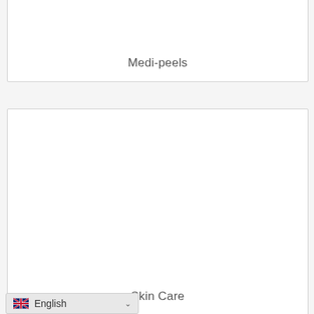[Figure (other): Card or tile element labeled Medi-peels, white background with border, top portion visible]
Medi-peels
[Figure (other): Card or tile element labeled Skin Care, white background with border, large image area]
Skin Care
English